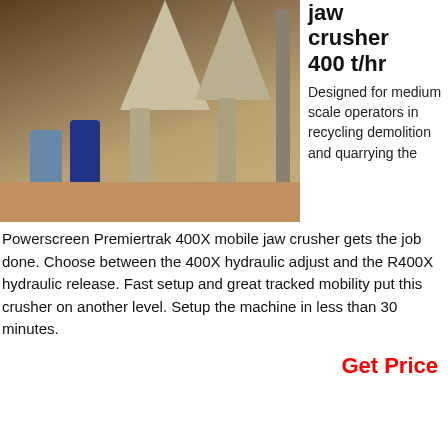[Figure (photo): Industrial interior showing large conical hoppers/cyclones on metal scaffolding. Two workers stand in the foreground on a dusty floor.]
jaw crusher 400 t/hr
Designed for medium scale operators in recycling demolition and quarrying the Powerscreen Premiertrak 400X mobile jaw crusher gets the job done. Choose between the 400X hydraulic adjust and the R400X hydraulic release. Fast setup and great tracked mobility put this crusher on another level. Setup the machine in less than 30 minutes.
Get Price